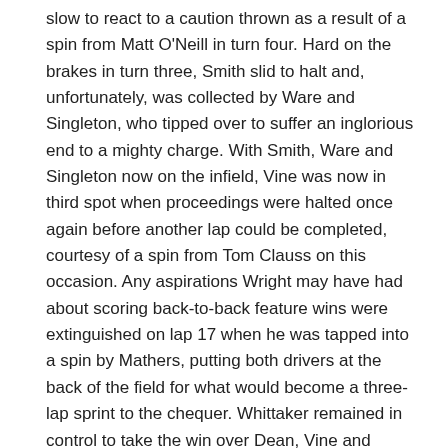slow to react to a caution thrown as a result of a spin from Matt O'Neill in turn four. Hard on the brakes in turn three, Smith slid to halt and, unfortunately, was collected by Ware and Singleton, who tipped over to suffer an inglorious end to a mighty charge. With Smith, Ware and Singleton now on the infield, Vine was now in third spot when proceedings were halted once again before another lap could be completed, courtesy of a spin from Tom Clauss on this occasion. Any aspirations Wright may have had about scoring back-to-back feature wins were extinguished on lap 17 when he was tapped into a spin by Mathers, putting both drivers at the back of the field for what would become a three-lap sprint to the chequer. Whittaker remained in control to take the win over Dean, Vine and Rooke, who found sufficient speed in the closing stages to challenge Vine for the final podium position. Malt, O'Neill and Dawson were next best, leaving Wright, Mathers and Gavin McDowall as the only other finishers.
Liam Williams and Tomas Partington shared the spoils with a win apiece in the Formula 500 heat races, but it was Kristin Brown